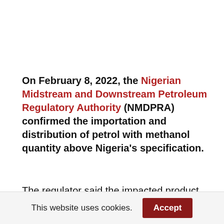On February 8, 2022, the Nigerian Midstream and Downstream Petroleum Regulatory Authority (NMDPRA) confirmed the importation and distribution of petrol with methanol quantity above Nigeria's specification.
The regulator said the impacted product had been isolated and withdrawn from the market, including the loaded trucks in transit.
This website uses cookies. Accept